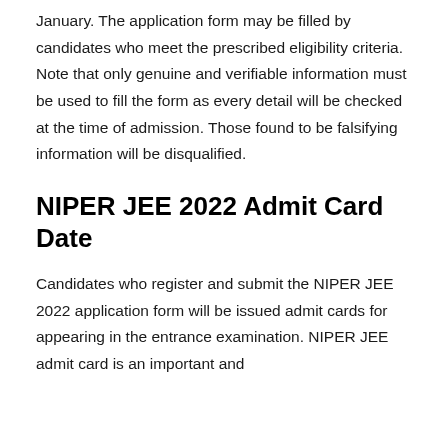January. The application form may be filled by candidates who meet the prescribed eligibility criteria. Note that only genuine and verifiable information must be used to fill the form as every detail will be checked at the time of admission. Those found to be falsifying information will be disqualified.
NIPER JEE 2022 Admit Card Date
Candidates who register and submit the NIPER JEE 2022 application form will be issued admit cards for appearing in the entrance examination. NIPER JEE admit card is an important and